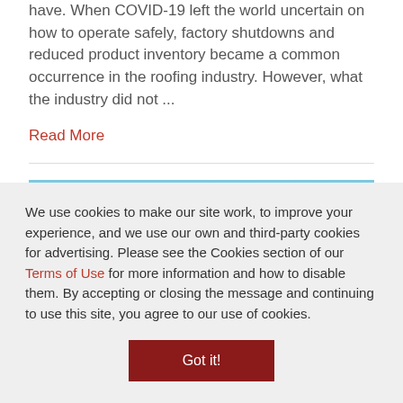have. When COVID-19 left the world uncertain on how to operate safely, factory shutdowns and reduced product inventory became a common occurrence in the roofing industry. However, what the industry did not ...
Read More
[Figure (photo): Photo of a worker on a rooftop against a blue sky]
We use cookies to make our site work, to improve your experience, and we use our own and third-party cookies for advertising. Please see the Cookies section of our Terms of Use for more information and how to disable them. By accepting or closing the message and continuing to use this site, you agree to our use of cookies.